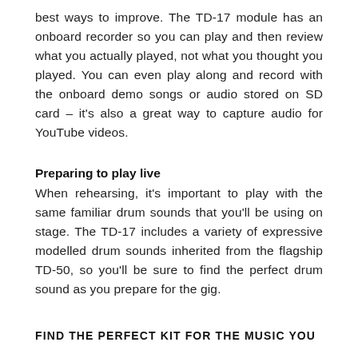best ways to improve. The TD-17 module has an onboard recorder so you can play and then review what you actually played, not what you thought you played. You can even play along and record with the onboard demo songs or audio stored on SD card – it's also a great way to capture audio for YouTube videos.
Preparing to play live
When rehearsing, it's important to play with the same familiar drum sounds that you'll be using on stage. The TD-17 includes a variety of expressive modelled drum sounds inherited from the flagship TD-50, so you'll be sure to find the perfect drum sound as you prepare for the gig.
FIND THE PERFECT KIT FOR THE MUSIC YOU